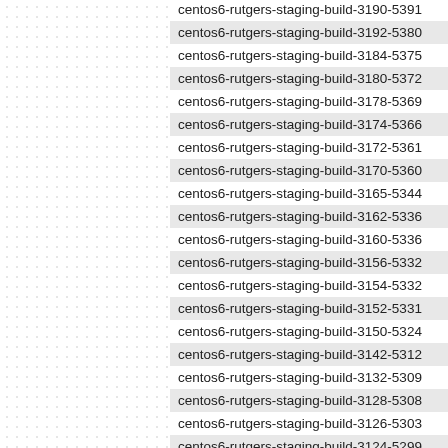centos6-rutgers-staging-build-3190-5391
centos6-rutgers-staging-build-3192-5380
centos6-rutgers-staging-build-3184-5375
centos6-rutgers-staging-build-3180-5372
centos6-rutgers-staging-build-3178-5369
centos6-rutgers-staging-build-3174-5366
centos6-rutgers-staging-build-3172-5361
centos6-rutgers-staging-build-3170-5360
centos6-rutgers-staging-build-3165-5344
centos6-rutgers-staging-build-3162-5336
centos6-rutgers-staging-build-3160-5336
centos6-rutgers-staging-build-3156-5332
centos6-rutgers-staging-build-3154-5332
centos6-rutgers-staging-build-3152-5331
centos6-rutgers-staging-build-3150-5324
centos6-rutgers-staging-build-3142-5312
centos6-rutgers-staging-build-3132-5309
centos6-rutgers-staging-build-3128-5308
centos6-rutgers-staging-build-3126-5303
centos6-rutgers-staging-build-3124-5299
centos6-rutgers-staging-build-3122-5293
centos6-rutgers-staging-build-3117-5287
centos6-rutgers-staging-build-3113-5283